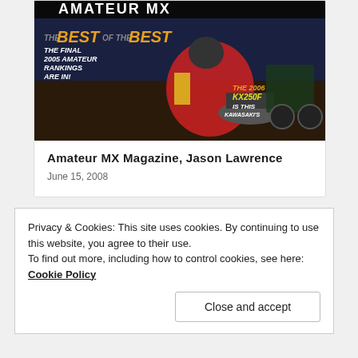[Figure (photo): Amateur MX Magazine cover featuring a motocross rider in red and yellow gear, text reads 'THE BEST OF THE BEST - THE FINAL 2005 AMATEUR RANKINGS ARE IN!' and 'THE 2006 KX250F IS THIS KAWASAKI'S']
Amateur MX Magazine, Jason Lawrence
June 15, 2008
Privacy & Cookies: This site uses cookies. By continuing to use this website, you agree to their use.
To find out more, including how to control cookies, see here: Cookie Policy
Close and accept